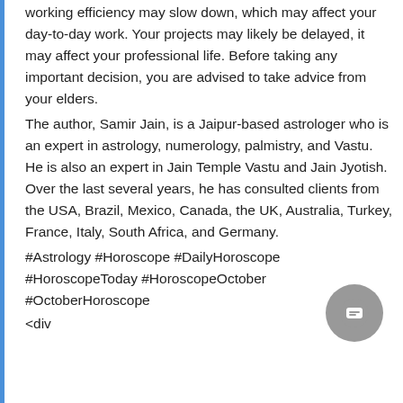working efficiency may slow down, which may affect your day-to-day work. Your projects may likely be delayed, it may affect your professional life. Before taking any important decision, you are advised to take advice from your elders.
The author, Samir Jain, is a Jaipur-based astrologer who is an expert in astrology, numerology, palmistry, and Vastu. He is also an expert in Jain Temple Vastu and Jain Jyotish. Over the last several years, he has consulted clients from the USA, Brazil, Mexico, Canada, the UK, Australia, Turkey, France, Italy, South Africa, and Germany.
#Astrology #Horoscope #DailyHoroscope #HoroscopeToday #HoroscopeOctober #OctoberHoroscope
<div